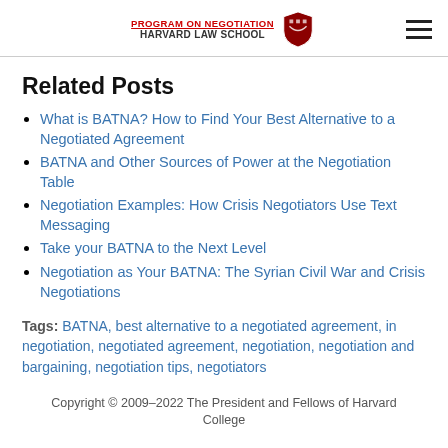PROGRAM ON NEGOTIATION HARVARD LAW SCHOOL
Related Posts
What is BATNA? How to Find Your Best Alternative to a Negotiated Agreement
BATNA and Other Sources of Power at the Negotiation Table
Negotiation Examples: How Crisis Negotiators Use Text Messaging
Take your BATNA to the Next Level
Negotiation as Your BATNA: The Syrian Civil War and Crisis Negotiations
Tags: BATNA, best alternative to a negotiated agreement, in negotiation, negotiated agreement, negotiation, negotiation and bargaining, negotiation tips, negotiators
Copyright © 2009–2022 The President and Fellows of Harvard College